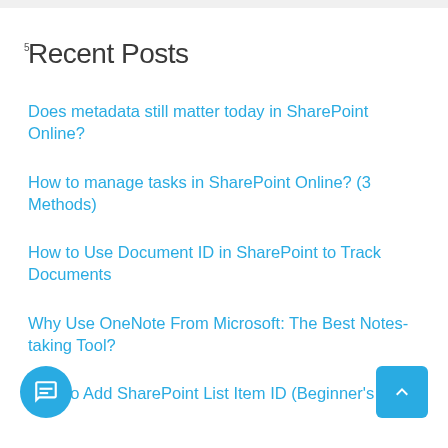Recent Posts
Does metadata still matter today in SharePoint Online?
How to manage tasks in SharePoint Online? (3 Methods)
How to Use Document ID in SharePoint to Track Documents
Why Use OneNote From Microsoft: The Best Notes-taking Tool?
How to Add SharePoint List Item ID (Beginner's